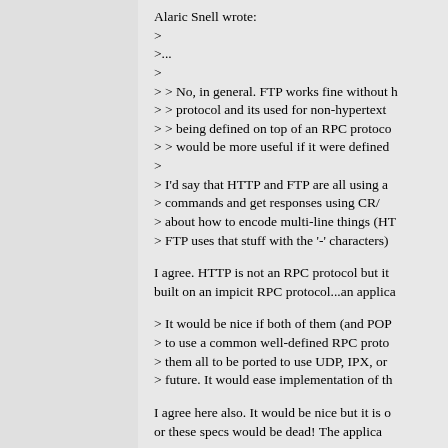Alaric Snell wrote:
>
>...
>
> > No, in general. FTP works fine without h
> > protocol and its used for non-hypertext
> > being defined on top of an RPC protoco
> > would be more useful if it were defined
>
> I'd say that HTTP and FTP are all using a
> commands and get responses using CR/
> about how to encode multi-line things (HT
> FTP uses that stuff with the '-' characters)

I agree. HTTP is not an RPC protocol but it
built on an impicit RPC protocol...an applica

> It would be nice if both of them (and POP
> to use a common well-defined RPC proto
> them all to be ported to use UDP, IPX, or
> future. It would ease implementation of th

I agree here also. It would be nice but it is o
or these specs would be dead! The applica